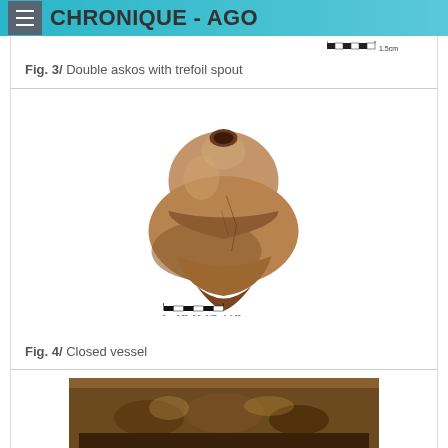CHRONIQUE - AGO
[Figure (photo): Scale bar from Fig. 3 (partially visible at top of content area)]
Fig. 3/ Double askos with trefoil spout
[Figure (photo): Photograph of a closed ceramic vessel (askos), rounded body with small opening at top, brown/terracotta color, with scale bar below reading 0 0.25 0.5 0.75 1 1.25cm]
Fig. 4/ Closed vessel
[Figure (photo): Partial photograph of another artifact visible at bottom of page]